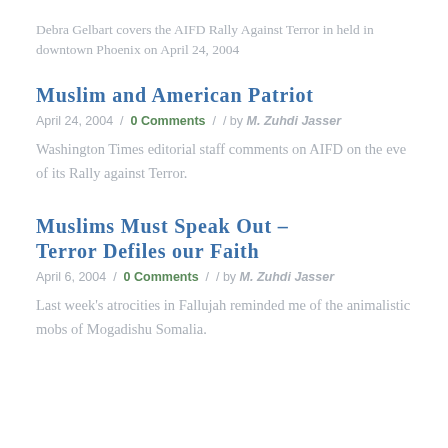Debra Gelbart covers the AIFD Rally Against Terror in held in downtown Phoenix on April 24, 2004
Muslim and American Patriot
April 24, 2004 / 0 Comments / / by M. Zuhdi Jasser
Washington Times editorial staff comments on AIFD on the eve of its Rally against Terror.
Muslims Must Speak Out – Terror Defiles our Faith
April 6, 2004 / 0 Comments / / by M. Zuhdi Jasser
Last week's atrocities in Fallujah reminded me of the animalistic mobs of Mogadishu Somalia.